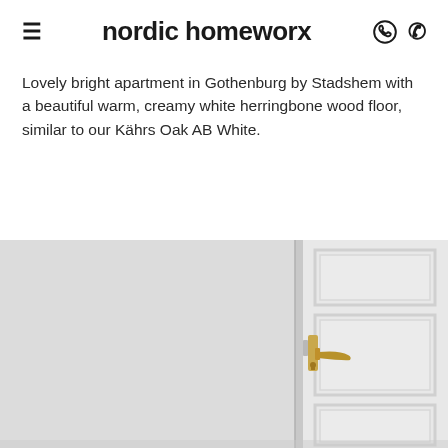nordic homeworx
Lovely bright apartment in Gothenburg by Stadshem with a beautiful warm, creamy white herringbone wood floor, similar to our Kährs Oak AB White.
[Figure (photo): Interior photo showing a bright white room with a white panelled door featuring a gold/brass lever handle, and light grey walls, taken from a Gothenburg apartment.]